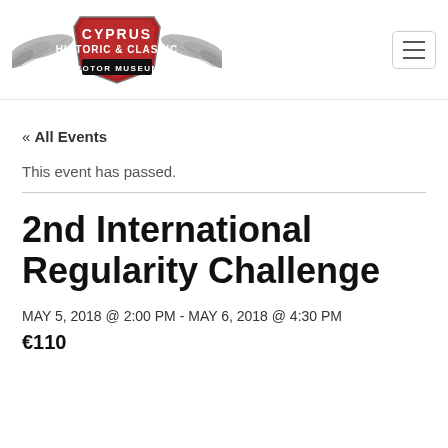[Figure (logo): Cyprus Historic & Classic Motor Museum winged logo badge with red shield and black banner, plus hamburger menu button in top right]
« All Events
This event has passed.
2nd International Regularity Challenge
MAY 5, 2018 @ 2:00 PM - MAY 6, 2018 @ 4:30 PM
€110